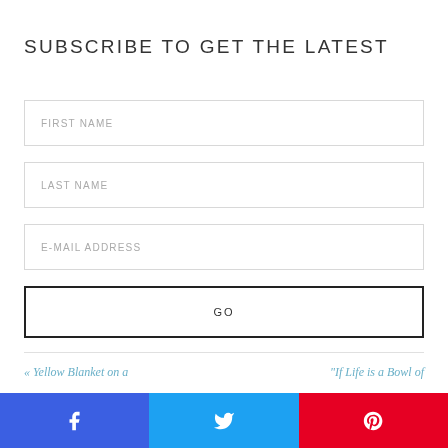SUBSCRIBE TO GET THE LATEST
FIRST NAME
LAST NAME
E-MAIL ADDRESS
GO
« Yellow Blanket on a
"If Life is a Bowl of
[Figure (other): Social sharing buttons: Facebook (blue), Twitter (light blue), Pinterest (red) with respective icons]